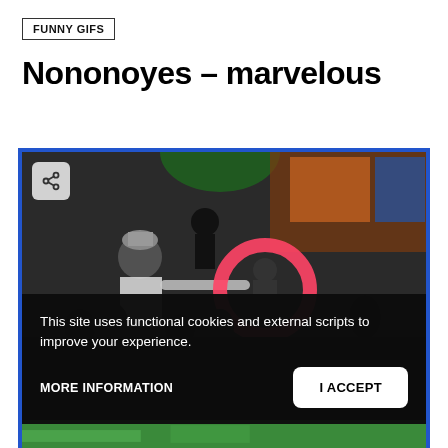FUNNY GIFS
Nononoyes – marvelous
[Figure (photo): Screenshot of a website showing a video/GIF player with a dark scene of a performer wearing a cap and white jacket swinging a glowing red hoop ring in front of an audience. A share button is visible in the top-left corner of the player. A cookie consent banner overlays the bottom half with text and two buttons.]
This site uses functional cookies and external scripts to improve your experience.
MORE INFORMATION
I ACCEPT